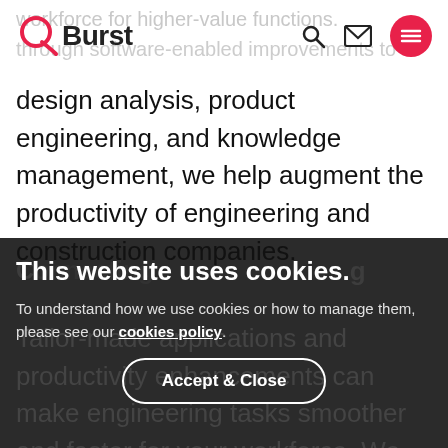QBurst
workforce for higher-value functions.
through software-enabled improvements to design analysis, product engineering, and knowledge management, we help augment the productivity of engineering and construction companies.
This website uses cookies.
To understand how we use cookies or how to manage them, please see our cookies policy.
Tailor-made applications and productivity enhancements can make engineering tasks smoother and faster for your workforce. We build custom applications and tools that can be plugged into your system or used independently based on your company's specific
Accept & Close